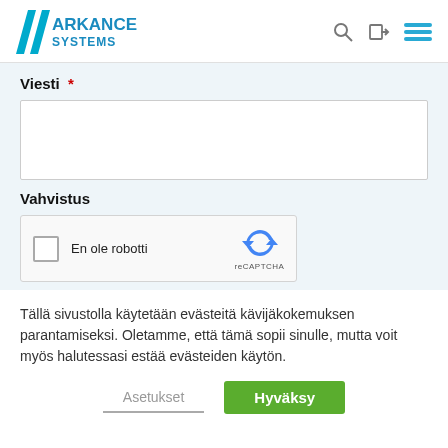[Figure (logo): Arkance Systems logo with blue diagonal stripe and ARKANCE SYSTEMS text in blue]
Viesti *
[Figure (screenshot): Empty text area input field]
Vahvistus
[Figure (screenshot): reCAPTCHA widget with checkbox and 'En ole robotti' text]
Tällä sivustolla käytetään evästeitä kävijäkokemuksen parantamiseksi. Oletamme, että tämä sopii sinulle, mutta voit myös halutessasi estää evästeiden käytön.
Asetukset
Hyväksy